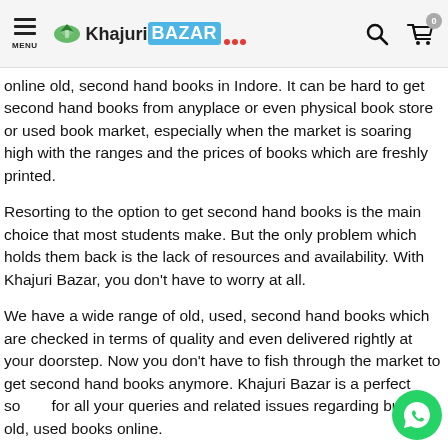MENU | Khajuri BAZAR | [search icon] [cart icon] 0
online old, second hand books in Indore. It can be hard to get second hand books from anyplace or even physical book store or used book market, especially when the market is soaring high with the ranges and the prices of books which are freshly printed.
Resorting to the option to get second hand books is the main choice that most students make. But the only problem which holds them back is the lack of resources and availability. With Khajuri Bazar, you don't have to worry at all.
We have a wide range of old, used, second hand books which are checked in terms of quality and even delivered rightly at your doorstep. Now you don't have to fish through the market to get second hand books anymore. Khajuri Bazar is a perfect source for all your queries and related issues regarding buying old, used books online.